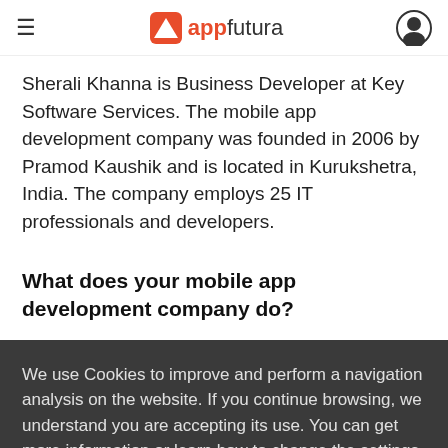appfutura
Sherali Khanna is Business Developer at Key Software Services. The mobile app development company was founded in 2006 by Pramod Kaushik and is located in Kurukshetra, India. The company employs 25 IT professionals and developers.
What does your mobile app development company do?
We use Cookies to improve and perform a navigation analysis on the website. If you continue browsing, we understand you are accepting its use. You can get more information or learn how to change the settings in our Cookies Policy.